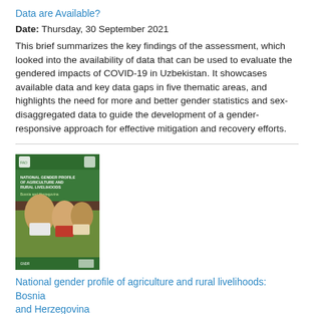Data are Available?
Date: Thursday, 30 September 2021
This brief summarizes the key findings of the assessment, which looked into the availability of data that can be used to evaluate the gendered impacts of COVID-19 in Uzbekistan. It showcases available data and key data gaps in five thematic areas, and highlights the need for more and better gender statistics and sex-disaggregated data to guide the development of a gender-responsive approach for effective mitigation and recovery efforts.
[Figure (photo): Book cover of National gender profile of agriculture and rural livelihoods: Bosnia and Herzegovina with a green cover and people working in agriculture]
National gender profile of agriculture and rural livelihoods: Bosnia and Herzegovina
Date: Wednesday, 1 September 2021
The flagship country gender assessment report of agriculture and rural liverlihoods for Bosnia and Herzegovina represents the first